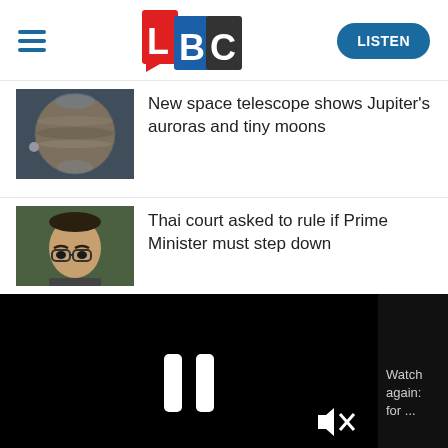[Figure (logo): LBC radio logo with L in red, B in blue, C in black/grey, hamburger menu icon on left, LISTEN button on right]
[Figure (photo): Photo of Jupiter planet showing bands and auroras from space telescope]
New space telescope shows Jupiter's auroras and tiny moons
[Figure (photo): Photo of Thai Prime Minister, man with glasses]
Thai court asked to rule if Prime Minister must step down
[Figure (screenshot): Video player overlay showing paused video with pause icon and muted volume icon, progress bar at bottom, sidebar showing 'Watch again: for ...']